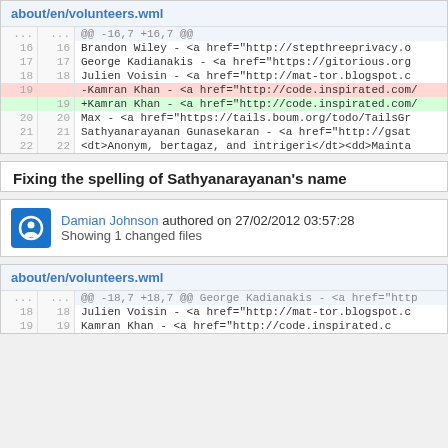about/en/volunteers.wml
[Figure (screenshot): Git diff showing changes to about/en/volunteers.wml, lines 16-22, with line 19 deleted (Kamran Khan old entry) and re-added (Kamran Khan updated entry). Hunk header: @@ -16,7 +16,7 @@]
Fixing the spelling of Sathyanarayanan's name
Damian Johnson authored on 27/02/2012 03:57:28
Showing 1 changed files
about/en/volunteers.wml
[Figure (screenshot): Git diff showing changes to about/en/volunteers.wml, hunk header @@ -18,7 +18,7 @@ George Kadianakis - <a href="http..., lines 18-19 shown.]